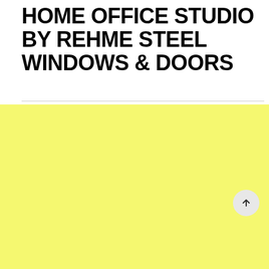HOME OFFICE STUDIO BY REHME STEEL WINDOWS & DOORS
[Figure (other): Yellow/lime colored background section filling the lower portion of the page, with a circular scroll-to-top button in the bottom-right corner containing an upward arrow]